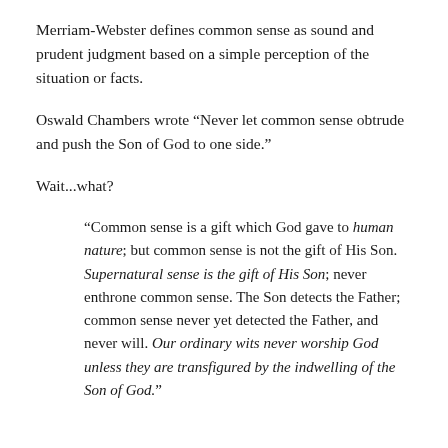Merriam-Webster defines common sense as sound and prudent judgment based on a simple perception of the situation or facts.
Oswald Chambers wrote “Never let common sense obtrude and push the Son of God to one side.”
Wait...what?
“Common sense is a gift which God gave to human nature; but common sense is not the gift of His Son. Supernatural sense is the gift of His Son; never enthrone common sense. The Son detects the Father; common sense never yet detected the Father, and never will. Our ordinary wits never worship God unless they are transfigured by the indwelling of the Son of God.”